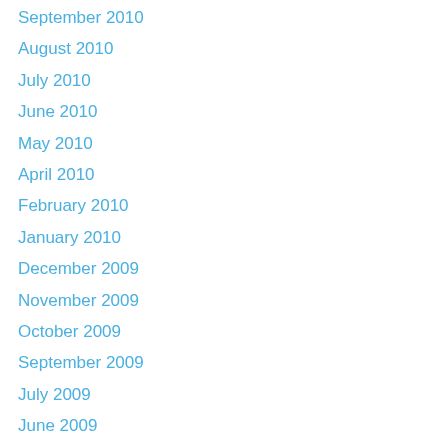September 2010
August 2010
July 2010
June 2010
May 2010
April 2010
February 2010
January 2010
December 2009
November 2009
October 2009
September 2009
July 2009
June 2009
May 2009
April 2009
March 2009
February 2009
January 2009
December 2008